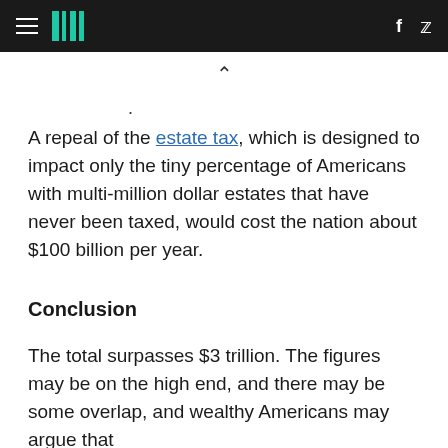HuffPost navigation header with hamburger menu, logo, Facebook and Twitter icons
A repeal of the estate tax, which is designed to impact only the tiny percentage of Americans with multi-million dollar estates that have never been taxed, would cost the nation about $100 billion per year.
Conclusion
The total surpasses $3 trillion. The figures may be on the high end, and there may be some overlap, and wealthy Americans may argue that